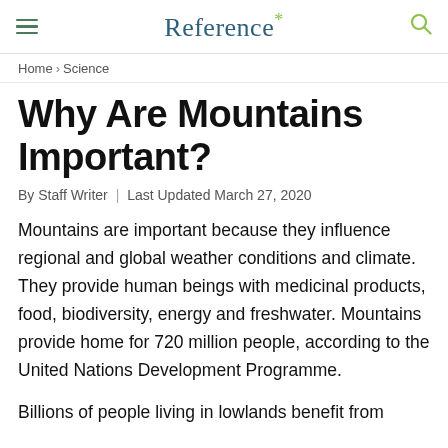Reference*
Home › Science
Why Are Mountains Important?
By Staff Writer | Last Updated March 27, 2020
Mountains are important because they influence regional and global weather conditions and climate. They provide human beings with medicinal products, food, biodiversity, energy and freshwater. Mountains provide home for 720 million people, according to the United Nations Development Programme.
Billions of people living in lowlands benefit from